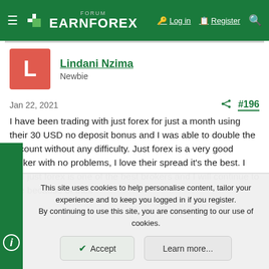FORUM EARNFOREX — Log in | Register
Lindani Nzima
Newbie
Jan 22, 2021  #196
I have been trading with just forex for just a month using their 30 USD no deposit bonus and I was able to double the account without any difficulty. Just forex is a very good broker with no problems, I love their spread it's the best. I feel just forex is one of the best brokers and I will continue to use because of their
This site uses cookies to help personalise content, tailor your experience and to keep you logged in if you register. By continuing to use this site, you are consenting to our use of cookies.
Accept   Learn more...